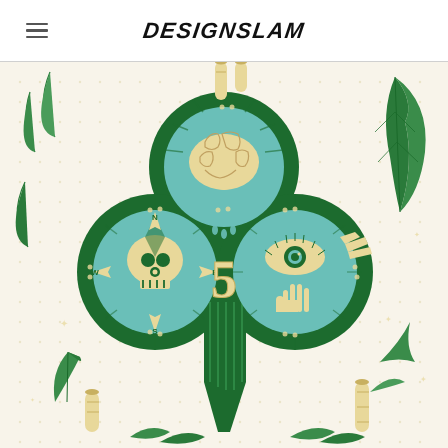DESIGNSLAM
[Figure (illustration): Decorative illustration featuring a four-leaf clover / club card suit shape in dark green filled with mystical imagery: top lobe contains a brain, left lobe contains a skull compass rose, right lobe contains an eye and hand, center shows the number 5. Surrounding elements include feathers, leaves, vines, tubes/cylinders, and botanical decorations on a cream/white dotted background. Color palette is green, teal, and yellow/cream.]